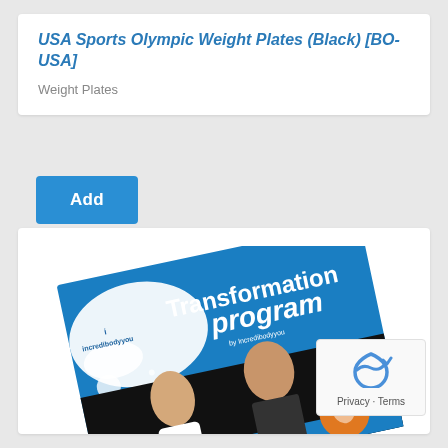USA Sports Olympic Weight Plates (Black) [BO-USA]
Weight Plates
Add
[Figure (photo): Incredibodyyou Transformation Program booklet cover featuring a man and woman on a blue and black background with the text 'Transformation program by Incredibodyyou']
Privacy · Terms